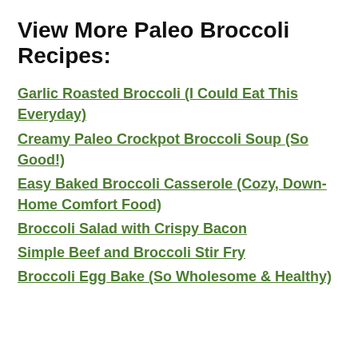View More Paleo Broccoli Recipes:
Garlic Roasted Broccoli (I Could Eat This Everyday)
Creamy Paleo Crockpot Broccoli Soup (So Good!)
Easy Baked Broccoli Casserole (Cozy, Down-Home Comfort Food)
Broccoli Salad with Crispy Bacon
Simple Beef and Broccoli Stir Fry
Broccoli Egg Bake (So Wholesome & Healthy)